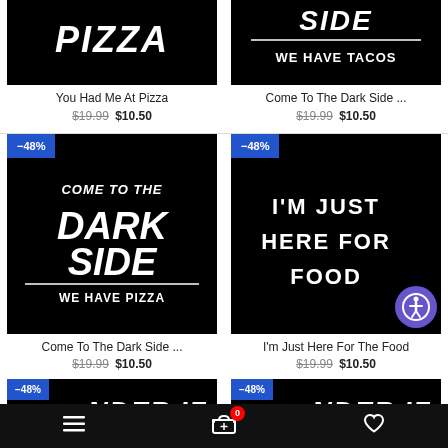[Figure (photo): Black t-shirt print with large bold italic text 'PIZZA' in white]
You Had Me At Pizza
$19.99 $10.50
[Figure (photo): Black t-shirt print with 'SIDE' and 'WE HAVE TACOS' text in Star Wars style]
Come To The Dark Side ...
$19.99 $10.50
[Figure (photo): Black t-shirt with 'COME TO THE DARK SIDE WE HAVE PIZZA' in Star Wars style. Badge: -48%]
Come To The Dark Side ...
$19.99 $10.50
[Figure (photo): Black t-shirt with 'I'M JUST HERE FOR FOOD' in bold white text. Badge: -48%]
I'm Just Here For The Food
$19.99 $10.50
[Figure (photo): Partially visible black t-shirt with text ending in 'NDER IF'. Badge: -48%]
[Figure (photo): Partially visible black t-shirt with text ending in 'NDER IF'. Badge: -48%]
Navigation bar with menu, cart (0 items), and wishlist icons